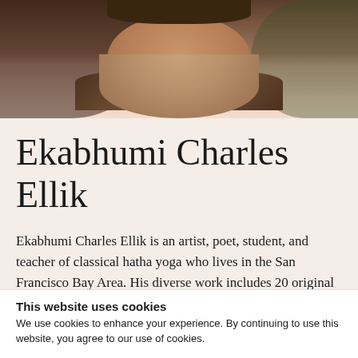[Figure (photo): Close-up photo of a man's face and neck, showing dark hair and beard, wearing a plaid collar shirt, against a green background]
Ekabhumi Charles Ellik
Ekabhumi Charles Ellik is an artist, poet, student, and teacher of classical hatha yoga who lives in the San Francisco Bay Area. His diverse work includes 20 original illustrations created for Sally Kempton's book Awakening Shakti. For more, visit
This website uses cookies
We use cookies to enhance your experience. By continuing to use this website, you agree to our use of cookies.